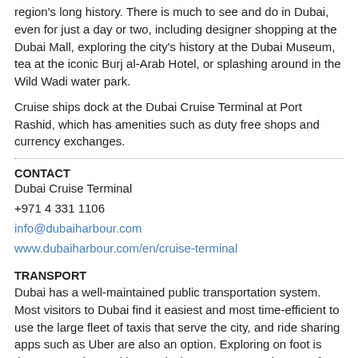region's long history. There is much to see and do in Dubai, even for just a day or two, including designer shopping at the Dubai Mall, exploring the city's history at the Dubai Museum, tea at the iconic Burj al-Arab Hotel, or splashing around in the Wild Wadi water park.
Cruise ships dock at the Dubai Cruise Terminal at Port Rashid, which has amenities such as duty free shops and currency exchanges.
CONTACT
Dubai Cruise Terminal
+971 4 331 1106
info@dubaiharbour.com
www.dubaiharbour.com/en/cruise-terminal
TRANSPORT
Dubai has a well-maintained public transportation system. Most visitors to Dubai find it easiest and most time-efficient to use the large fleet of taxis that serve the city, and ride sharing apps such as Uber are also an option. Exploring on foot is time-consuming and impractical, as many attractions are far apart.